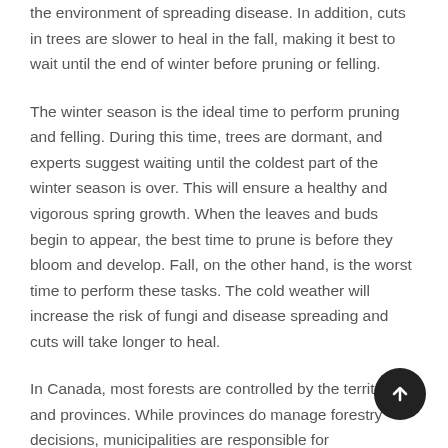the environment of spreading disease. In addition, cuts in trees are slower to heal in the fall, making it best to wait until the end of winter before pruning or felling.
The winter season is the ideal time to perform pruning and felling. During this time, trees are dormant, and experts suggest waiting until the coldest part of the winter season is over. This will ensure a healthy and vigorous spring growth. When the leaves and buds begin to appear, the best time to prune is before they bloom and develop. Fall, on the other hand, is the worst time to perform these tasks. The cold weather will increase the risk of fungi and disease spreading and cuts will take longer to heal.
In Canada, most forests are controlled by the territories and provinces. While provinces do manage forestry decisions, municipalities are responsible for implementing these laws. In most cases, trees should be pruned according to the